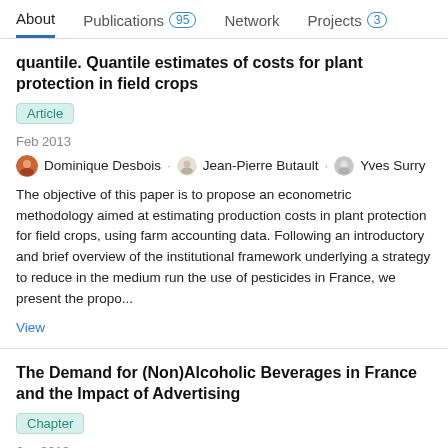About  Publications 95  Network  Projects 3
quantile. Quantile estimates of costs for plant protection in field crops
Article
Feb 2013
Dominique Desbois · Jean-Pierre Butault · Yves Surry
The objective of this paper is to propose an econometric methodology aimed at estimating production costs in plant protection for field crops, using farm accounting data. Following an introductory and brief overview of the institutional framework underlying a strategy to reduce in the medium run the use of pesticides in France, we present the propo...
View
The Demand for (Non)Alcoholic Beverages in France and the Impact of Advertising
Chapter
Jan 2013